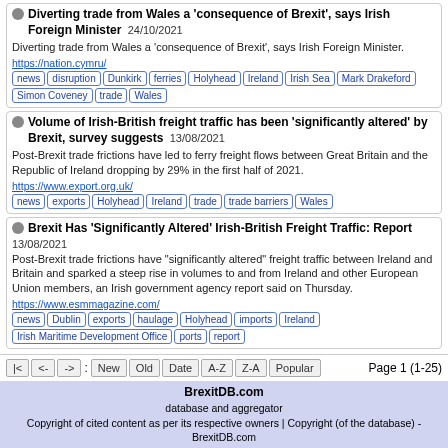Diverting trade from Wales a 'consequence of Brexit', says Irish Foreign Minister 24/10/2021 — Diverting trade from Wales a 'consequence of Brexit', says Irish Foreign Minister. https://nation.cymru/ tags: news, disruption, Dunkirk, ferries, Holyhead, Ireland, Irish Sea, Mark Drakeford, Simon Coveney, trade, Wales
Volume of Irish-British freight traffic has been 'significantly altered' by Brexit, survey suggests 13/08/2021 — Post-Brexit trade frictions have led to ferry freight flows between Great Britain and the Republic of Ireland dropping by 29% in the first half of 2021. https://www.export.org.uk/ tags: news, exports, Holyhead, Ireland, trade, trade barriers, Wales
Brexit Has 'Significantly Altered' Irish-British Freight Traffic: Report 13/08/2021 — Post-Brexit trade frictions have "significantly altered" freight traffic between Ireland and Britain and sparked a steep rise in volumes to and from Ireland and other European Union members, an Irish government agency report said on Thursday. https://www.esmmagazine.com/ tags: news, Dublin, exports, haulage, Holyhead, imports, Ireland, Irish Maritime Development Office, ports, report
BrexitDB.com — database and aggregator — Copyright of cited content as per its respective owners | Copyright (of the database) - BrexitDB.com